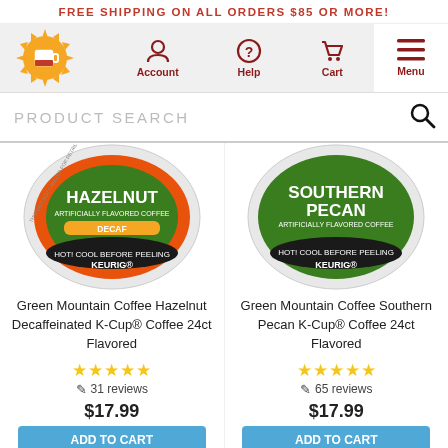FREE SHIPPING ON ALL ORDERS $85 OR MORE!
[Figure (screenshot): Website navigation bar with logo (orange sunburst with coffee mug), Account, Help, Cart, and Menu icons]
PRODUCT SEARCH
[Figure (photo): Green Mountain Coffee Hazelnut K-Cup pod, green label with orange Decaf band]
Green Mountain Coffee Hazelnut Decaffeinated K-Cup® Coffee 24ct Flavored
★★★★★ 31 reviews $17.99
[Figure (photo): Green Mountain Coffee Southern Pecan K-Cup pod, green label]
Green Mountain Coffee Southern Pecan K-Cup® Coffee 24ct Flavored
★★★★★ 65 reviews $17.99